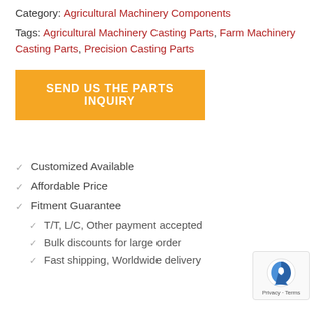Category: Agricultural Machinery Components
Tags: Agricultural Machinery Casting Parts, Farm Machinery Casting Parts, Precision Casting Parts
SEND US THE PARTS INQUIRY
Customized Available
Affordable Price
Fitment Guarantee
T/T, L/C, Other payment accepted
Bulk discounts for large order
Fast shipping, Worldwide delivery